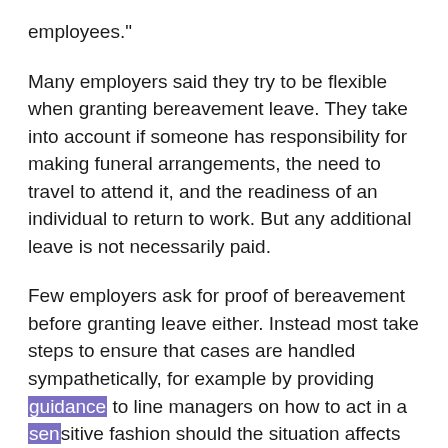employees."
Many employers said they try to be flexible when granting bereavement leave. They take into account if someone has responsibility for making funeral arrangements, the need to travel to attend it, and the readiness of an individual to return to work. But any additional leave is not necessarily paid.
Few employers ask for proof of bereavement before granting leave either. Instead most take steps to ensure that cases are handled sympathetically, for example by providing guidance to line managers on how to act in a sensitive fashion should the situation affects an employee's attendance or performance levels. They are also asked to maintain a dialogue with the affected person while they are on leave and